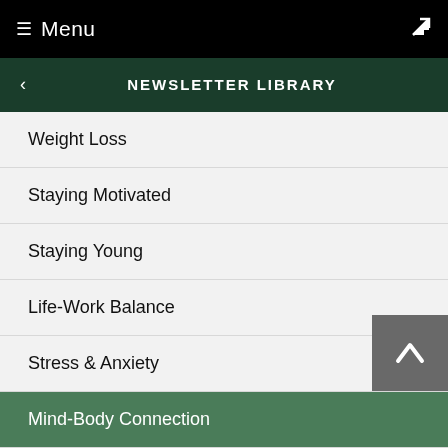Menu
NEWSLETTER LIBRARY
Weight Loss
Staying Motivated
Staying Young
Life-Work Balance
Stress & Anxiety
Mind-Body Connection
Wellness